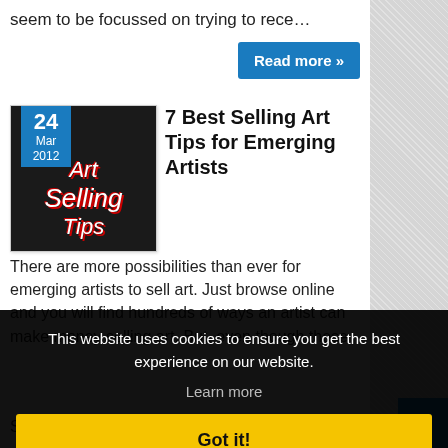seem to be focussed on trying to rece…
Read more »
[Figure (illustration): Art Selling Tips thumbnail image with stylized text on dark background, overlaid with a date badge showing 24 Mar 2012]
7 Best Selling Art Tips for Emerging Artists
There are more possibilities than ever for emerging artists to sell art. Just browse online and you will find hundreds of ways an artist can make money selling art. But, even though these
This website uses cookies to ensure you get the best experience on our website.
Learn more
Got it!
So far, 20 artists have been featured in the